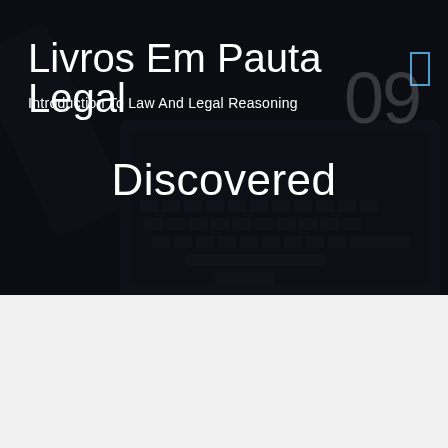[Figure (screenshot): Hero section with dark background showing a laptop keyboard, overlaid with website header content]
Livros Em Pauta Legal
Introduction To Law And Legal Reasoning
Discovered
September 29, 2021
Why Every Little Thing You've